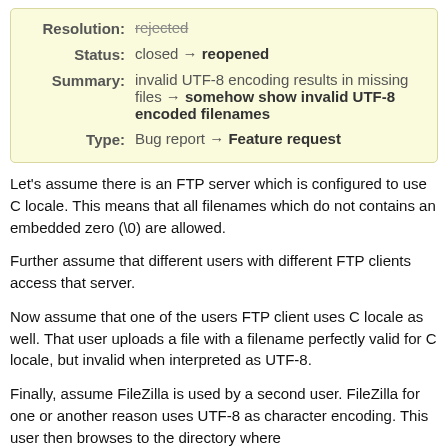| Resolution: | rejected |
| Status: | closed → reopened |
| Summary: | invalid UTF-8 encoding results in missing files → somehow show invalid UTF-8 encoded filenames |
| Type: | Bug report → Feature request |
Let's assume there is an FTP server which is configured to use C locale. This means that all filenames which do not contains an embedded zero (\0) are allowed.
Further assume that different users with different FTP clients access that server.
Now assume that one of the users FTP client uses C locale as well. That user uploads a file with a filename perfectly valid for C locale, but invalid when interpreted as UTF-8.
Finally, assume FileZilla is used by a second user. FileZilla for one or another reason uses UTF-8 as character encoding. This user then browses to the directory where